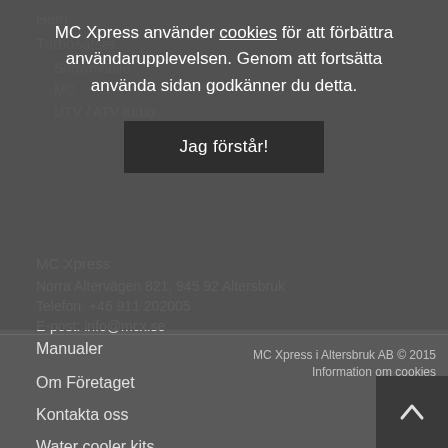MC Xpress använder cookies för att förbättra användarupplevelsen. Genom att fortsätta använda sidan godkänner du detta.
Jag förstår!
Hem
Turbosatser
Snowmobile
MC
UTV / ATV turbo
Manualer
Om Företaget
Kontakta oss
Water cooler kits
MC Xpress
Norra Altervägen 821, 945 92 Altersbruk
Telefon: +46 911 202005
E-post: info@mcx.se
MC Xpress i Altersbruk AB © 2015
Information om cookies